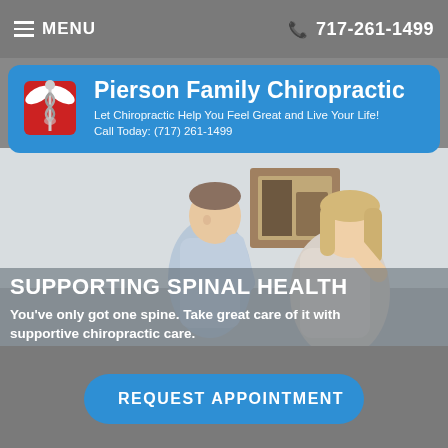≡ MENU   717-261-1499
[Figure (logo): Pierson Family Chiropractic logo with caduceus medical symbol on red shield background]
Pierson Family Chiropractic
Let Chiropractic Help You Feel Great and Live Your Life! Call Today: (717) 261-1499
[Figure (photo): A male chiropractor in a white shirt performing a shoulder/arm adjustment on a female patient with blonde hair in a clinical setting]
SUPPORTING SPINAL HEALTH
You've only got one spine. Take great care of it with supportive chiropractic care.
REQUEST APPOINTMENT